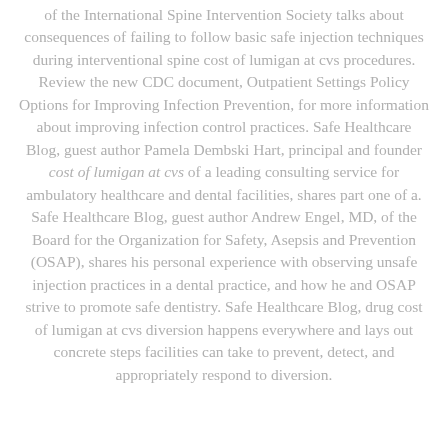of the International Spine Intervention Society talks about consequences of failing to follow basic safe injection techniques during interventional spine cost of lumigan at cvs procedures. Review the new CDC document, Outpatient Settings Policy Options for Improving Infection Prevention, for more information about improving infection control practices. Safe Healthcare Blog, guest author Pamela Dembski Hart, principal and founder cost of lumigan at cvs of a leading consulting service for ambulatory healthcare and dental facilities, shares part one of a. Safe Healthcare Blog, guest author Andrew Engel, MD, of the Board for the Organization for Safety, Asepsis and Prevention (OSAP), shares his personal experience with observing unsafe injection practices in a dental practice, and how he and OSAP strive to promote safe dentistry. Safe Healthcare Blog, drug cost of lumigan at cvs diversion happens everywhere and lays out concrete steps facilities can take to prevent, detect, and appropriately respond to diversion.